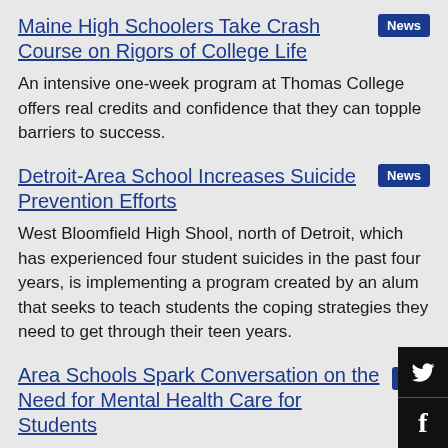Maine High Schoolers Take Crash Course on Rigors of College Life
An intensive one-week program at Thomas College offers real credits and confidence that they can topple barriers to success.
Detroit-Area School Increases Suicide Prevention Efforts
West Bloomfield High Shool, north of Detroit, which has experienced four student suicides in the past four years, is implementing a program created by an alum that seeks to teach students the coping strategies they need to get through their teen years.
Area Schools Spark Conversation on the Need for Mental Health Care for Students
Recent school shootings have opened up a dialogue in Northeast Wisconsin and all around the country about w